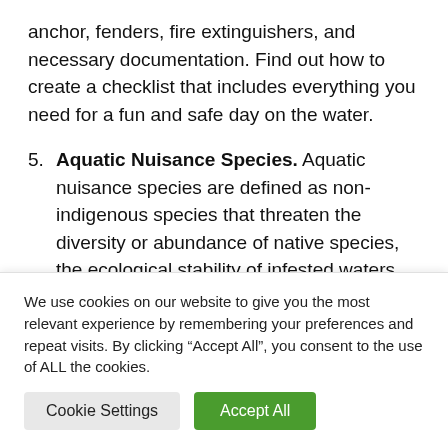anchor, fenders, fire extinguishers, and necessary documentation. Find out how to create a checklist that includes everything you need for a fun and safe day on the water.
5. Aquatic Nuisance Species. Aquatic nuisance species are defined as non-indigenous species that threaten the diversity or abundance of native species, the ecological stability of infested waters, or commercial, agricultural, aquacultural or
We use cookies on our website to give you the most relevant experience by remembering your preferences and repeat visits. By clicking “Accept All”, you consent to the use of ALL the cookies.